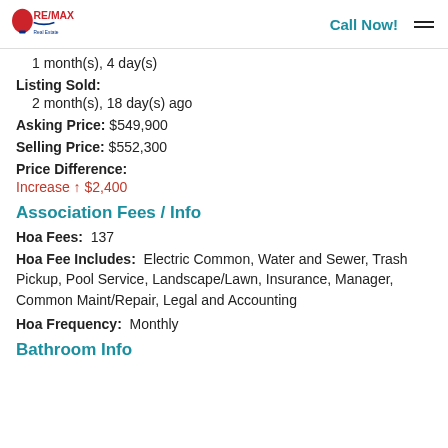RE/MAX | Call Now!
1 month(s), 4 day(s)
Listing Sold:
2 month(s), 18 day(s) ago
Asking Price: $549,900
Selling Price: $552,300
Price Difference:
Increase ↑ $2,400
Association Fees / Info
Hoa Fees: 137
Hoa Fee Includes: Electric Common, Water and Sewer, Trash Pickup, Pool Service, Landscape/Lawn, Insurance, Manager, Common Maint/Repair, Legal and Accounting
Hoa Frequency: Monthly
Bathroom Info